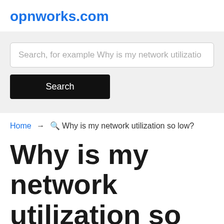opnworks.com
[Figure (screenshot): Search bar with placeholder text 'Search, for example Why is my network utilizatio' and a black Search button below]
Home → 🔍 Why is my network utilization so low?
Why is my network utilization so low?